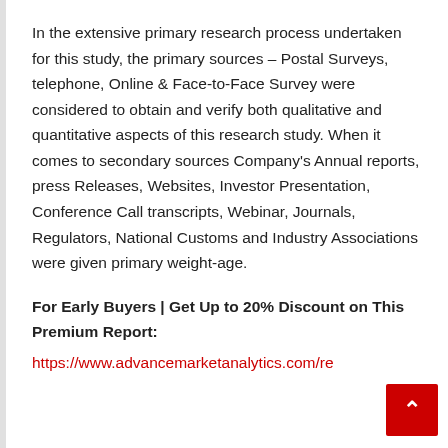In the extensive primary research process undertaken for this study, the primary sources – Postal Surveys, telephone, Online & Face-to-Face Survey were considered to obtain and verify both qualitative and quantitative aspects of this research study. When it comes to secondary sources Company's Annual reports, press Releases, Websites, Investor Presentation, Conference Call transcripts, Webinar, Journals, Regulators, National Customs and Industry Associations were given primary weight-age.
For Early Buyers | Get Up to 20% Discount on This Premium Report: https://www.advancemarketanalytics.com/re